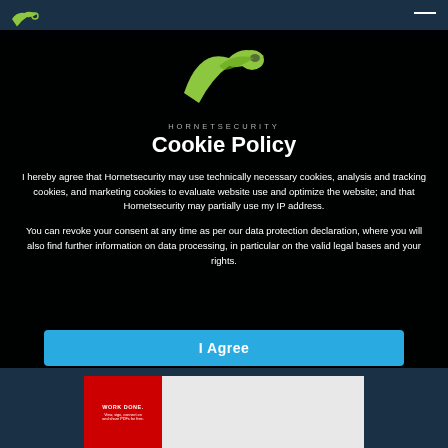[Figure (logo): Hornetsecurity wing/hornet logo in yellow-green on dark background, with text HORNETSECURITY below]
Cookie Policy
I hereby agree that Hornetsecurity may use technically necessary cookies, analysis and tracking cookies, and marketing cookies to evaluate website use and optimize the website; and that Hornetsecurity may partially use my IP address.
You can revoke your consent at any time as per our data protection declaration, where you will also find further information on data processing, in particular on the valid legal bases and your rights.
[Figure (screenshot): I Agree button in blue, and a partial view of a document tool advertisement at the bottom]